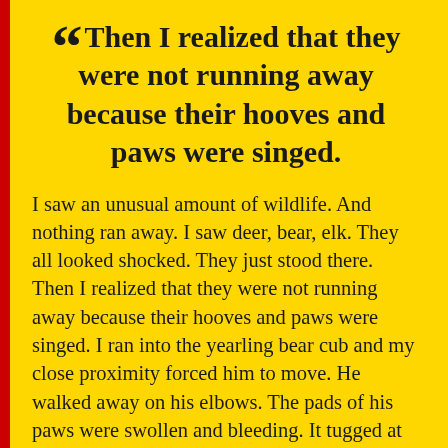“Then I realized that they were not running away because their hooves and paws were singed.
I saw an unusual amount of wildlife. And nothing ran away. I saw deer, bear, elk. They all looked shocked. They just stood there. Then I realized that they were not running away because their hooves and paws were singed. I ran into the yearling bear cub and my close proximity forced him to move. He walked away on his elbows. The pads of his paws were swollen and bleeding. It tugged at me emotionally, but barely. I was in the same daze as the animals. I tried to say something but words abandoned me.